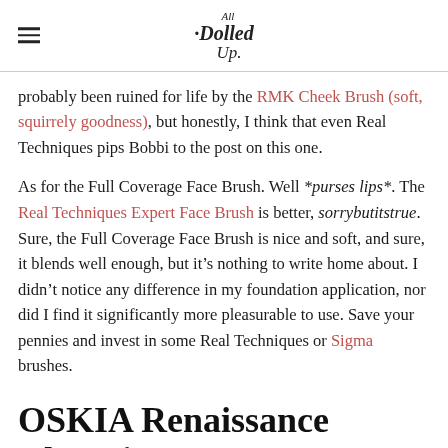All Dolled Up
probably been ruined for life by the RMK Cheek Brush (soft, squirrely goodness), but honestly, I think that even Real Techniques pips Bobbi to the post on this one.
As for the Full Coverage Face Brush. Well *purses lips*. The Real Techniques Expert Face Brush is better, sorrybutitstrue. Sure, the Full Coverage Face Brush is nice and soft, and sure, it blends well enough, but it’s nothing to write home about. I didn’t notice any difference in my foundation application, nor did I find it significantly more pleasurable to use. Save your pennies and invest in some Real Techniques or Sigma brushes.
OSKIA Renaissance Cleansing Gel